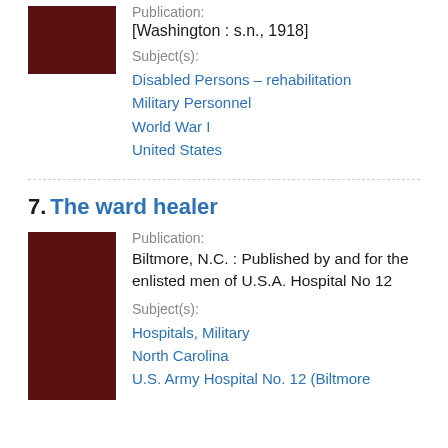[Figure (photo): Dark red/maroon book cover thumbnail, partial view at top]
Publication:
[Washington : s.n., 1918]
Subject(s):
Disabled Persons – rehabilitation
Military Personnel
World War I
United States
7. The ward healer
[Figure (photo): Dark red/maroon book cover thumbnail]
Publication:
Biltmore, N.C. : Published by and for the enlisted men of U.S.A. Hospital No 12
Subject(s):
Hospitals, Military
North Carolina
U.S. Army Hospital No. 12 (Biltmore